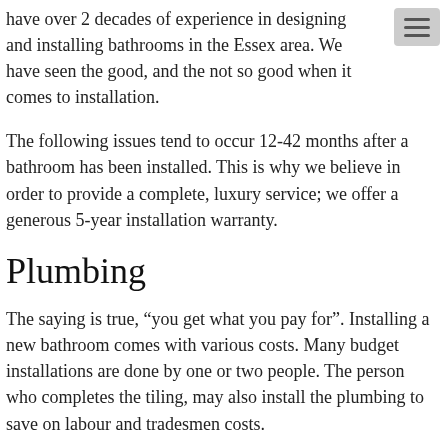have over 2 decades of experience in designing and installing bathrooms in the Essex area. We have seen the good, and the not so good when it comes to installation.
The following issues tend to occur 12-42 months after a bathroom has been installed. This is why we believe in order to provide a complete, luxury service; we offer a generous 5-year installation warranty.
Plumbing
The saying is true, “you get what you pay for”. Installing a new bathroom comes with various costs. Many budget installations are done by one or two people. The person who completes the tiling, may also install the plumbing to save on labour and tradesmen costs.
Plumbing issues are often out of sight, out of mind. As such, you may be blissfully unaware of any plumbing